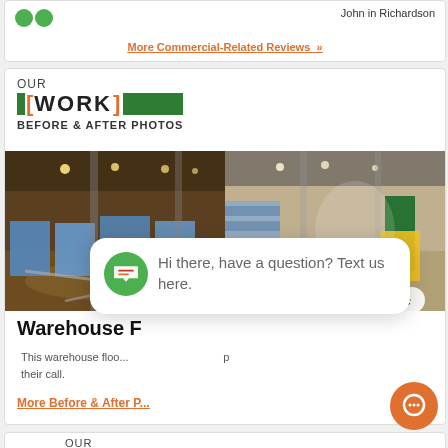John in Richardson
More Commercial-Related Reviews »
OUR [WORK] BEFORE & AFTER PHOTOS
[Figure (photo): Before photo: warehouse floor flooded with water, blue pallets visible]
[Figure (photo): After photo: clean dry warehouse floor with pallets and equipment]
Warehouse F...
This warehouse floo... their call.
More Before & After P...
[Figure (other): Chat popup: Hi there, have a question? Text us here. with SERVPRO logo icon]
OUR